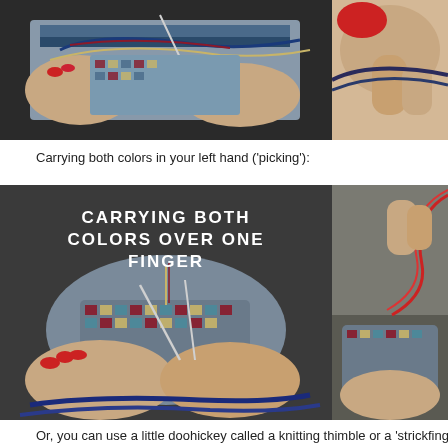[Figure (photo): Two side-by-side photos showing hands knitting colorwork with multiple yarn colors on needles, red fingernails visible, top row of instructional images]
Carrying both colors in your left hand ('picking'):
[Figure (photo): Two side-by-side photos showing 'CARRYING BOTH COLORS OVER ONE FINGER' technique with overlay text, hands knitting colorwork mittens with red fingernails and multiple yarn colors]
Or, you can use a little doohickey called a knitting thimble or a 'strickfingerh